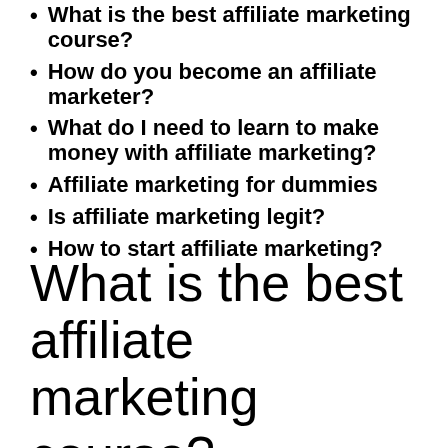What is the best affiliate marketing course?
How do you become an affiliate marketer?
What do I need to learn to make money with affiliate marketing?
Affiliate marketing for dummies
Is affiliate marketing legit?
How to start affiliate marketing?
What is the best affiliate marketing course?